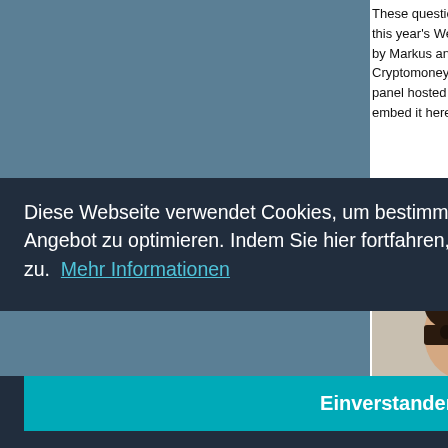These questions were raised at the first Emer... this year's Webinale in Berlin. The Day had be... by Markus and it touched such diverse topics ... Cryptomoney and Cyborgism. It started in the... panel hosted by Markus which had been filme... embed it here.
[Figure (photo): Three headshot photos of speakers: bearded man, smiling man, and young man in dark jacket]
Florian Schum... (@igrowdig...
, but after t...
[Figure (screenshot): Video thumbnail showing 'ogy Pan... Fidor Tec... Markus... Bolowski...' with YouTube play button]
Diese Webseite verwendet Cookies, um bestimmte Funktionen zu ermöglichen und das Angebot zu optimieren. Indem Sie hier fortfahren, stimmen Sie der Nutzung von Cookies zu.  Mehr Informationen
Einverstanden
[Figure (photo): Bottom row partial headshot photos of additional speakers]